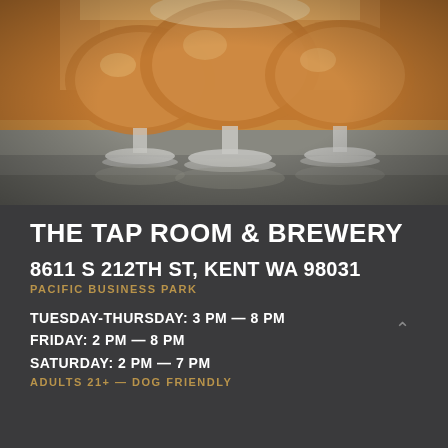[Figure (photo): Three tulip-shaped beer glasses filled with golden amber beer on a wooden surface, close-up photography]
THE TAP ROOM & BREWERY
8611 S 212TH ST, KENT WA 98031
PACIFIC BUSINESS PARK
TUESDAY-THURSDAY: 3 PM — 8 PM
FRIDAY: 2 PM — 8 PM
SATURDAY: 2 PM — 7 PM
ADULTS 21+ — DOG FRIENDLY